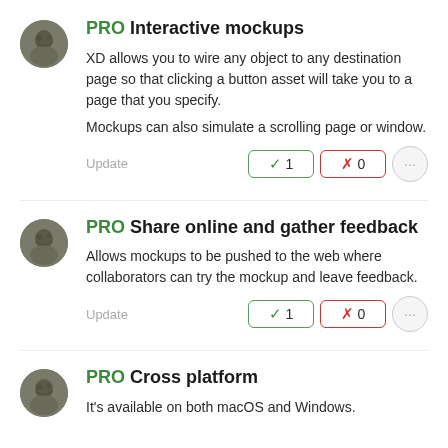PRO Interactive mockups
XD allows you to wire any object to any destination page so that clicking a button asset will take you to a page that you specify.
Mockups can also simulate a scrolling page or window.
PRO Share online and gather feedback
Allows mockups to be pushed to the web where collaborators can try the mockup and leave feedback.
PRO Cross platform
It's available on both macOS and Windows.